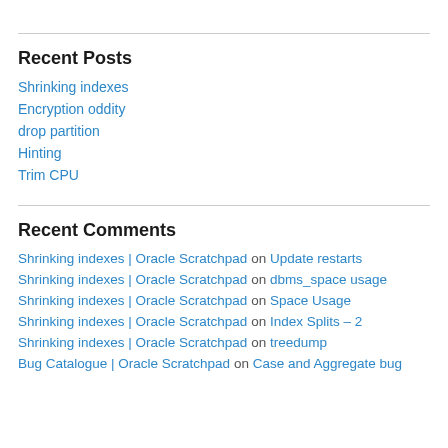Recent Posts
Shrinking indexes
Encryption oddity
drop partition
Hinting
Trim CPU
Recent Comments
Shrinking indexes | Oracle Scratchpad on Update restarts
Shrinking indexes | Oracle Scratchpad on dbms_space usage
Shrinking indexes | Oracle Scratchpad on Space Usage
Shrinking indexes | Oracle Scratchpad on Index Splits – 2
Shrinking indexes | Oracle Scratchpad on treedump
Bug Catalogue | Oracle Scratchpad on Case and Aggregate bug